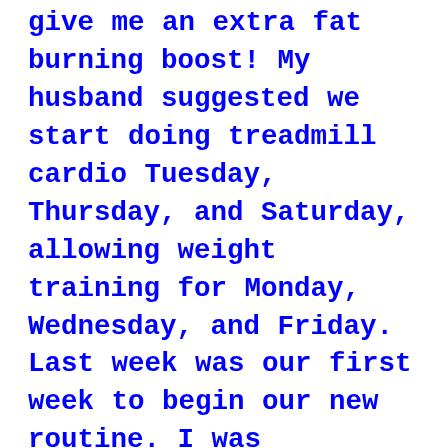give me an extra fat burning boost! My husband suggested we start doing treadmill cardio Tuesday, Thursday, and Saturday, allowing weight training for Monday, Wednesday, and Friday. Last week was our first week to begin our new routine. I was completely shocked at how hard it was to walk on the treadmill with the incline at 15 degrees, so since I was just starting out, I took it down to 10 degrees. I hope to challenge myself more each week. I will be sure to post each work out I create in my head as I go with you all who are following along.